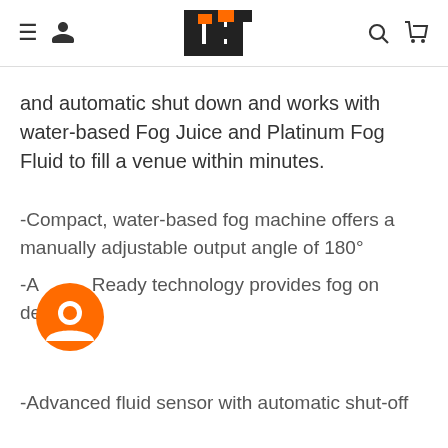CET logo with navigation icons
and automatic shut down and works with water-based Fog Juice and Platinum Fog Fluid to fill a venue within minutes.
-Compact, water-based fog machine offers a manually adjustable output angle of 180°
-Always Ready technology provides fog on demand
-Advanced fluid sensor with automatic shut-off